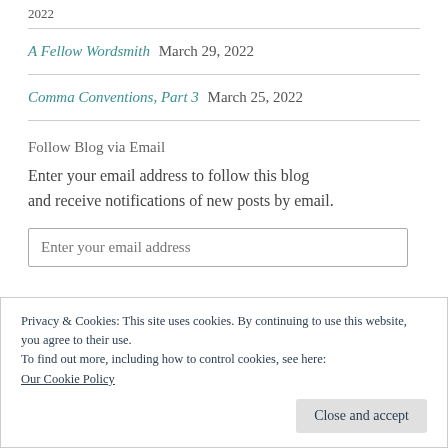2022
A Fellow Wordsmith March 29, 2022
Comma Conventions, Part 3 March 25, 2022
Follow Blog via Email
Enter your email address to follow this blog and receive notifications of new posts by email.
Enter your email address
Privacy & Cookies: This site uses cookies. By continuing to use this website, you agree to their use.
To find out more, including how to control cookies, see here:
Our Cookie Policy
Close and accept